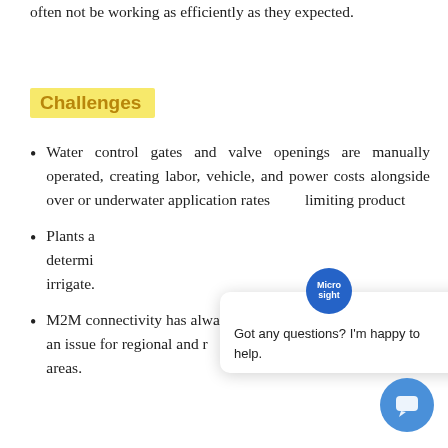often not be working as efficiently as they expected.
Challenges
Water control gates and valve openings are manually operated, creating labor, vehicle, and power costs alongside over or underwater application rates limiting product[ivity].
Plants a[re hard to] determi[ne when to] irrigate.
M2M connectivity has always be[en] an issue for regional and r[ural] areas.
[Figure (other): Chat widget overlay with Milesight logo icon and message 'Got any questions? I'm happy to help.' with close button and chat bubble button]